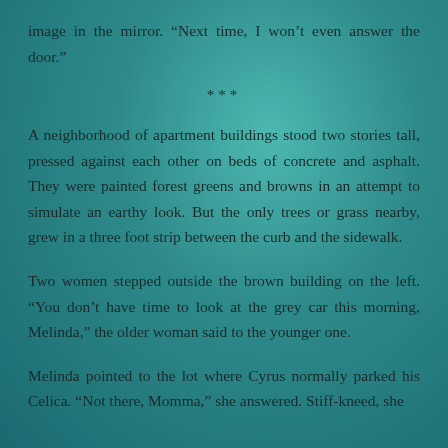image in the mirror. “Next time, I won’t even answer the door.”
***
A neighborhood of apartment buildings stood two stories tall, pressed against each other on beds of concrete and asphalt. They were painted forest greens and browns in an attempt to simulate an earthy look. But the only trees or grass nearby, grew in a three foot strip between the curb and the sidewalk.
Two women stepped outside the brown building on the left. “You don’t have time to look at the grey car this morning, Melinda,” the older woman said to the younger one.
Melinda pointed to the lot where Cyrus normally parked his Celica. “Not there, Momma,” she answered. Stiff-kneed, she